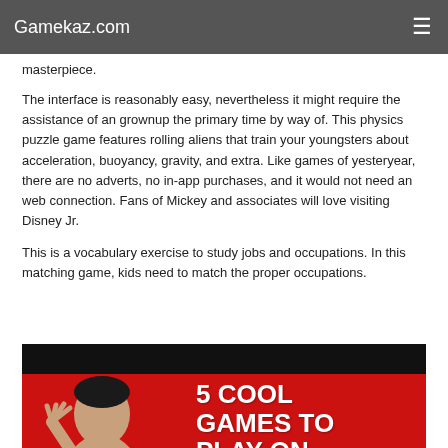Gamekaz.com
masterpiece.
The interface is reasonably easy, nevertheless it might require the assistance of an grownup the primary time by way of. This physics puzzle game features rolling aliens that train your youngsters about acceleration, buoyancy, gravity, and extra. Like games of yesteryear, there are no adverts, no in-app purchases, and it would not need an web connection. Fans of Mickey and associates will love visiting Disney Jr.
This is a vocabulary exercise to study jobs and occupations. In this matching game, kids need to match the proper occupations.
[Figure (photo): Promotional banner image with red background showing a smiling woman with her hand raised and bold white text reading '5 COOL GAMES TO PLAY ON']